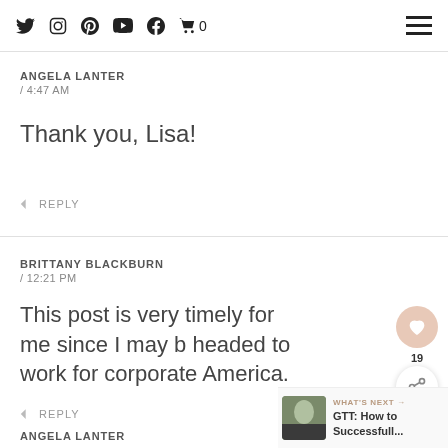Social icons: Twitter, Instagram, Pinterest, YouTube, Facebook, Cart (0), Hamburger menu
ANGELA LANTER / 4:47 AM
Thank you, Lisa!
REPLY
BRITTANY BLACKBURN / 12:21 PM
This post is very timely for me since I may b headed to work for corporate America.
REPLY
ANGELA LANTER